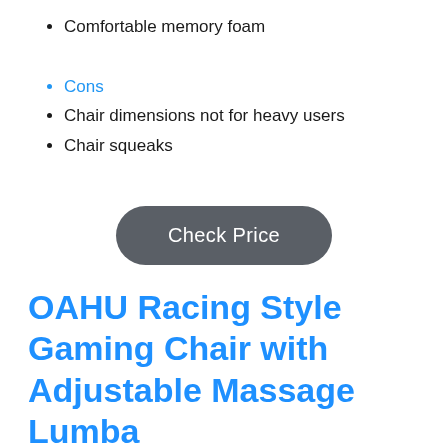Comfortable memory foam
Cons
Chair dimensions not for heavy users
Chair squeaks
Check Price
OAHU Racing Style Gaming Chair with Adjustable Massage Lumba
[Figure (photo): Product image of gaming chair with orange border, partially visible at bottom of page]